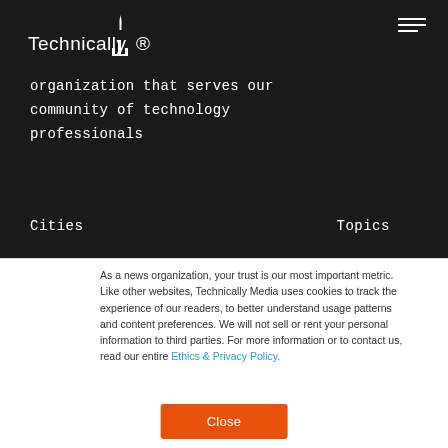Technically
organization that serves our community of technology professionals
Cities
Topics
As a news organization, your trust is our most important metric. Like other websites, Technically Media uses cookies to track the experience of our readers, to better understand usage patterns and content preferences. We will not sell or rent your personal information to third parties. For more information or to contact us, read our entire Ethics & Privacy Policy.
Close